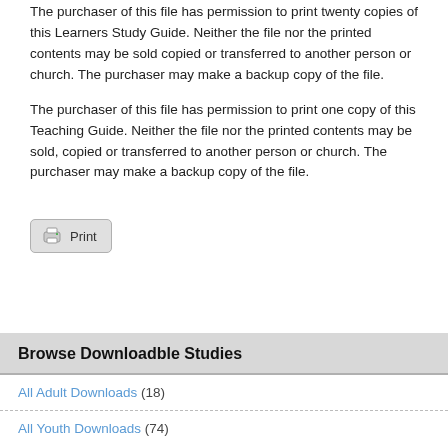The purchaser of this file has permission to print twenty copies of this Learners Study Guide. Neither the file nor the printed contents may be sold copied or transferred to another person or church. The purchaser may make a backup copy of the file.
The purchaser of this file has permission to print one copy of this Teaching Guide. Neither the file nor the printed contents may be sold, copied or transferred to another person or church. The purchaser may make a backup copy of the file.
[Figure (screenshot): A Print button with a printer icon and the label 'Print']
Browse Downloadble Studies
All Adult Downloads (18)
All Youth Downloads (74)